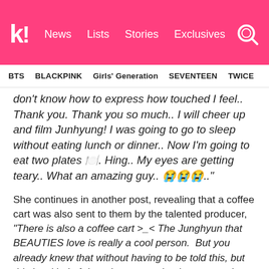k! News  Lists  Stories  Exclusives
BTS  BLACKPINK  Girls' Generation  SEVENTEEN  TWICE
don't know how to express how touched I feel.. Thank you. Thank you so much.. I will cheer up and film Junhyung! I was going to go to sleep without eating lunch or dinner.. Now I'm going to eat two plates 🍽️. Hing.. My eyes are getting teary.. What an amazing guy.. 😭😭😭.."
She continues in another post, revealing that a coffee cart was also sent to them by the talented producer, "There is also a coffee cart >_< The Junghyun that BEAUTIES love is really a cool person.  But you already knew that without having to be told this, but this is a kind of day where even thank yous aren't